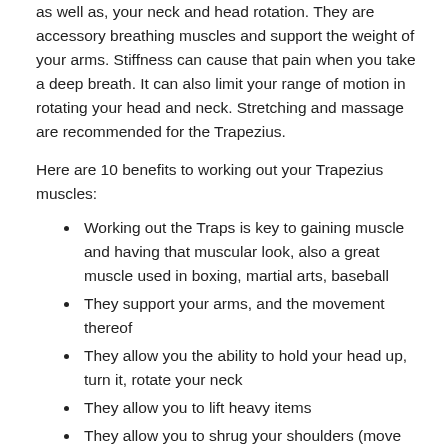as well as, your neck and head rotation. They are accessory breathing muscles and support the weight of your arms. Stiffness can cause that pain when you take a deep breath. It can also limit your range of motion in rotating your head and neck. Stretching and massage are recommended for the Trapezius.
Here are 10 benefits to working out your Trapezius muscles:
Working out the Traps is key to gaining muscle and having that muscular look, also a great muscle used in boxing, martial arts, baseball
They support your arms, and the movement thereof
They allow you the ability to hold your head up, turn it, rotate your neck
They allow you to lift heavy items
They allow you to shrug your shoulders (move them up and down)
They aid in good posture, straightening/ aligning the upper spine